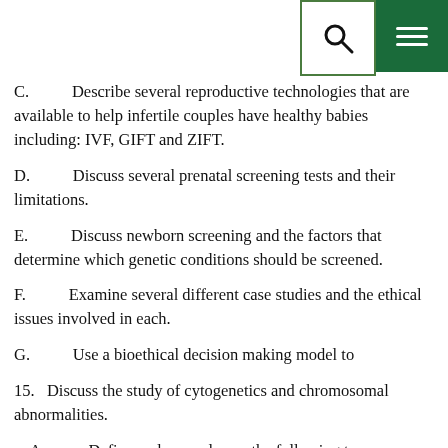C.      Describe several reproductive technologies that are available to help infertile couples have healthy babies including: IVF, GIFT and ZIFT.
D.      Discuss several prenatal screening tests and their limitations.
E.      Discuss newborn screening and the factors that determine which genetic conditions should be screened.
F.      Examine several different case studies and the ethical issues involved in each.
G.      Use a bioethical decision making model to
15.  Discuss the study of cytogenetics and chromosomal abnormalities.
A.      Define and properly use the following terms: